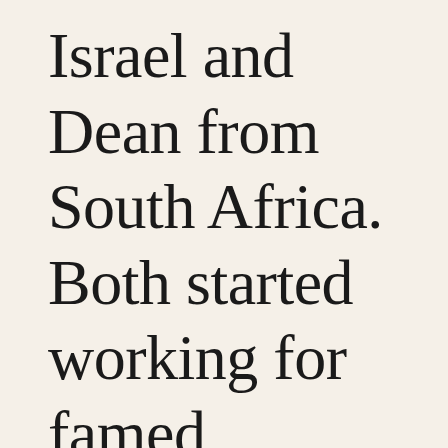Israel and Dean from South Africa. Both started working for famed restaurateur Keith